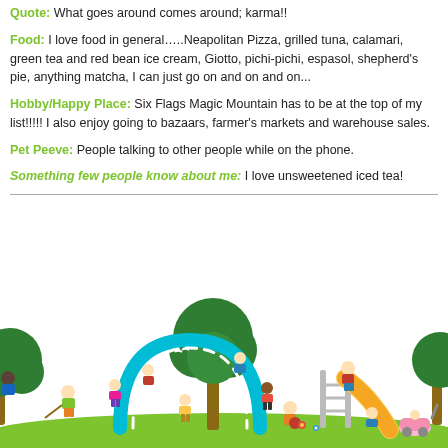Quote: What goes around comes around; karma!!
Food: I love food in general…..Neapolitan Pizza, grilled tuna, calamari, green tea and red bean ice cream, Giotto, pichi-pichi, espasol, shepherd's pie, anything matcha, I can just go on and on and on...
Hobby/Happy Place: Six Flags Magic Mountain has to be at the top of my list!!!!! I also enjoy going to bazaars, farmer's markets and warehouse sales.
Pet Peeve: People talking to other people while on the phone.
Something few people know about me: I love unsweetened iced tea!
[Figure (illustration): Cartoon children playing in a park with a slide, arch tunnel, and trees on green grass]